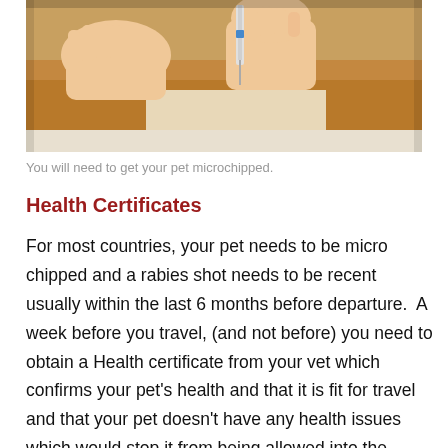[Figure (photo): Close-up photo of a person's hands holding a syringe and microchipping a dog. The dog's fur (orange/white) is visible and hands are pressing syringe into the scruff of the dog's neck.]
You will need to get your pet microchipped.
Health Certificates
For most countries, your pet needs to be micro chipped and a rabies shot needs to be recent usually within the last 6 months before departure.  A week before you travel, (and not before) you need to obtain a Health certificate from your vet which confirms your pet's health and that it is fit for travel and that your pet doesn't have any health issues which would stop it from being allowed into the country. A health certificate usually costs between SR 100-